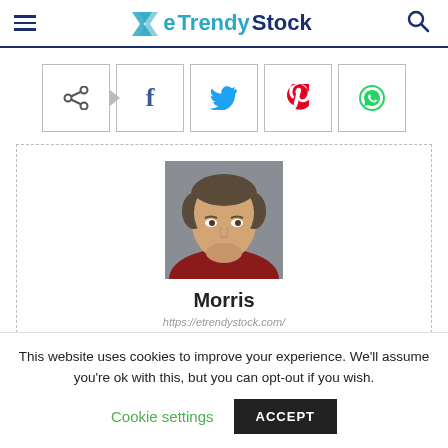eTrendy Stock
[Figure (other): Social share buttons row: share, Facebook, Twitter, Pinterest, WhatsApp]
[Figure (photo): Author profile photo of Morris — a man with short brown hair wearing a red shirt, against a grey background]
Morris
https://etrendystock.com/
This website uses cookies to improve your experience. We'll assume you're ok with this, but you can opt-out if you wish.
Cookie settings  ACCEPT